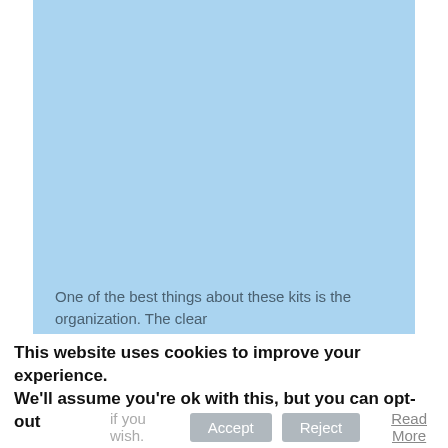[Figure (photo): Light blue rectangular area filling most of the upper portion of the page, representing a content image area.]
One of the best things about these kits is the organization.  The clear
This website uses cookies to improve your experience. We'll assume you're ok with this, but you can opt-out if you wish.
Accept
Reject
Read More